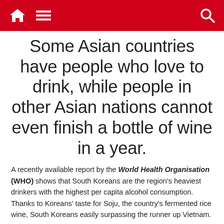[Navigation bar with home icon, menu icon, and search icon]
Some Asian countries have people who love to drink, while people in other Asian nations cannot even finish a bottle of wine in a year.
A recently available report by the World Health Organisation (WHO) shows that South Koreans are the region's heaviest drinkers with the highest per capita alcohol consumption.   Thanks to Koreans' taste for Soju, the country's fermented rice wine, South Koreans easily surpassing the runner up Vietnam.